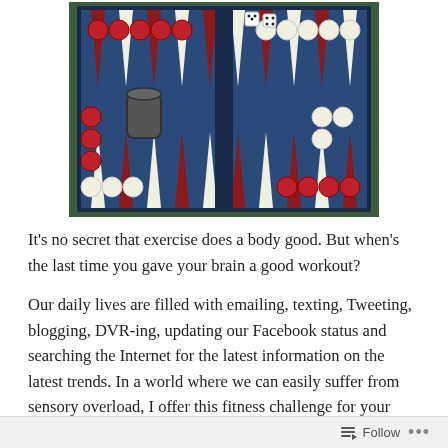[Figure (photo): A backgammon board game set open, showing red and white pieces (checkers) on a blue felt board, triangular points in dark red and white, two dice visible near top center, and a dice cup on the left side of the board.]
It’s no secret that exercise does a body good. But when’s the last time you gave your brain a good workout?
Our daily lives are filled with emailing, texting, Tweeting, blogging, DVR-ing, updating our Facebook status and searching the Internet for the latest information on the latest trends. In a world where we can easily suffer from sensory overload, I offer this fitness challenge for your mind: disconnect and re-boot.
Follow ...